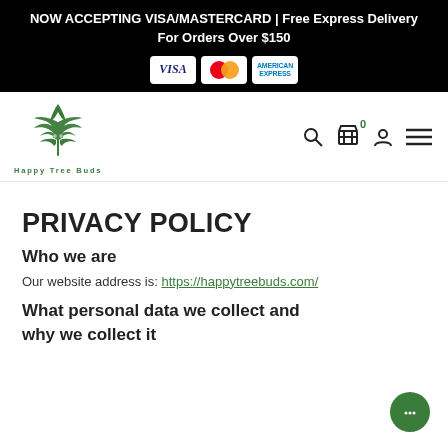NOW ACCEPTING VISA/MASTERCARD | Free Express Delivery For Orders Over $150
[Figure (logo): Happy Tree Buds cannabis leaf logo with nav icons (search, cart 0, user, menu)]
PRIVACY POLICY
Who we are
Our website address is: https://happytreebuds.com/
What personal data we collect and why we collect it